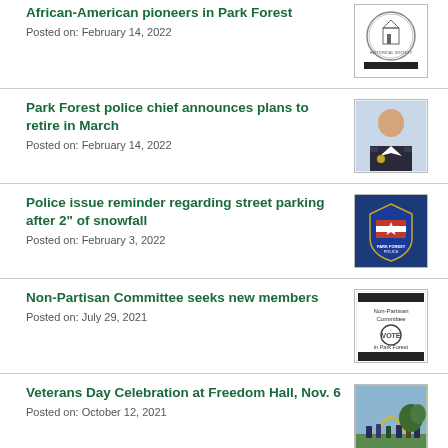African-American pioneers in Park Forest
Posted on: February 14, 2022
[Figure (logo): Historical Society circular seal/logo with black bar below]
Park Forest police chief announces plans to retire in March
Posted on: February 14, 2022
[Figure (photo): Portrait photo of police chief in uniform]
Police issue reminder regarding street parking after 2" of snowfall
Posted on: February 3, 2022
[Figure (logo): Park Forest Police badge with American flag]
Non-Partisan Committee seeks new members
Posted on: July 29, 2021
[Figure (logo): Non-Partisan Committee in Park Forest logo with vote emblem and black bars]
Veterans Day Celebration at Freedom Hall, Nov. 6
Posted on: October 12, 2021
[Figure (photo): Outdoor Veterans Day celebration photo with arch and people]